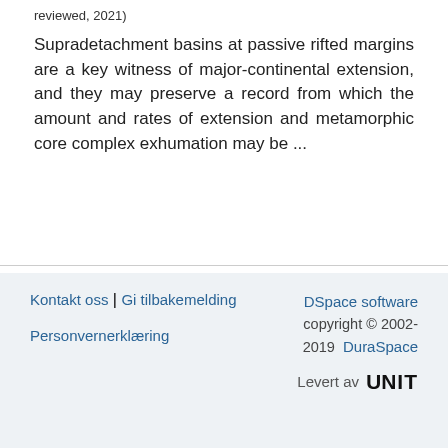reviewed, 2021)
Supradetachment basins at passive rifted margins are a key witness of major-continental extension, and they may preserve a record from which the amount and rates of extension and metamorphic core complex exhumation may be ...
[Figure (other): Left navigation arrow button (back)]
[Figure (other): Right navigation arrow button (forward)]
Kontakt oss | Gi tilbakemelding
Personvernerklæring
DSpace software copyright © 2002-2019 DuraSpace
Levert av UNIT